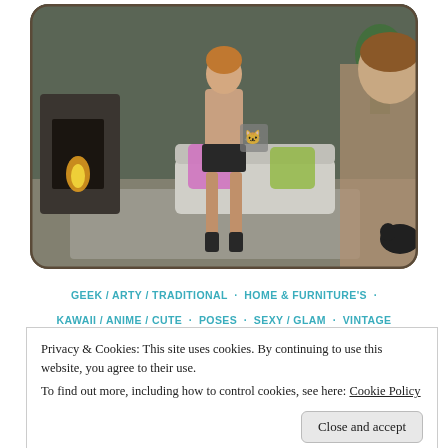[Figure (photo): Two female avatars in a virtual living room scene from a virtual world game. One avatar stands in the center wearing a black outfit holding a cat-print bag, the other is partially visible on the right. The room has furniture, plants, a fireplace, and a patterned rug.]
GEEK / ARTY / TRADITIONAL · HOME & FURNITURE'S · KAWAII / ANIME / CUTE · POSES · SEXY / GLAM · VINTAGE / GLAM
#0528
Privacy & Cookies: This site uses cookies. By continuing to use this website, you agree to their use.
To find out more, including how to control cookies, see here: Cookie Policy
Close and accept
Cosmopolitan Event NEW!! NECKLACE: CODEX_NECKLACE